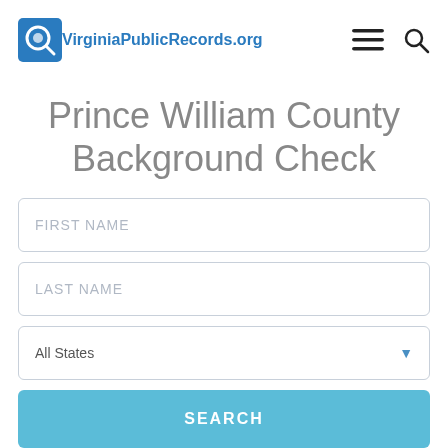VirginiaPublicRecords.org
Prince William County Background Check
FIRST NAME
LAST NAME
All States
SEARCH